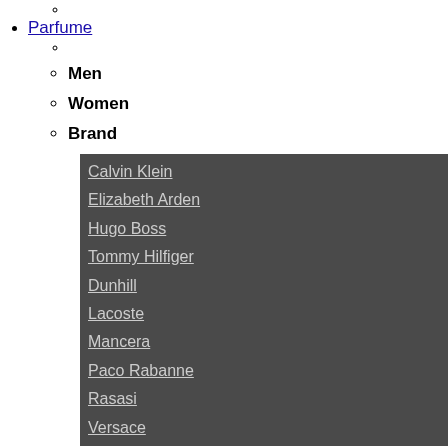Parfume
Men
Women
Brand
Calvin Klein
Elizabeth Arden
Hugo Boss
Tommy Hilfiger
Dunhill
Lacoste
Mancera
Paco Rabanne
Rasasi
Versace
Men
SKIN CARE